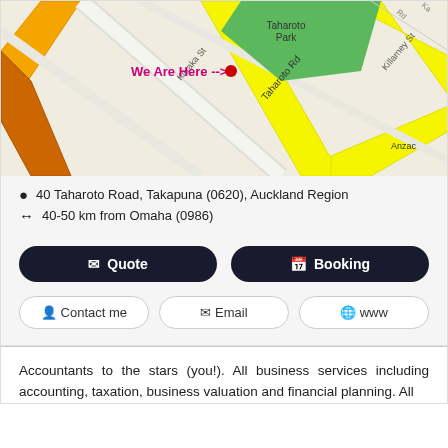[Figure (map): Street map showing location at 40 Taharoto Road, Takapuna. Shows Taharoto Rd, Karaka St, Killarney St, Anzac street, and Taharoto Park (green area). 'We Are Here -->' label in magenta with a red dot marker.]
40 Taharoto Road, Takapuna (0620), Auckland Region
40-50 km from Omaha (0986)
Quote | Booking
Contact me | Email | www
Accountants to the stars (you!). All business services including accounting, taxation, business valuation and financial planning. All